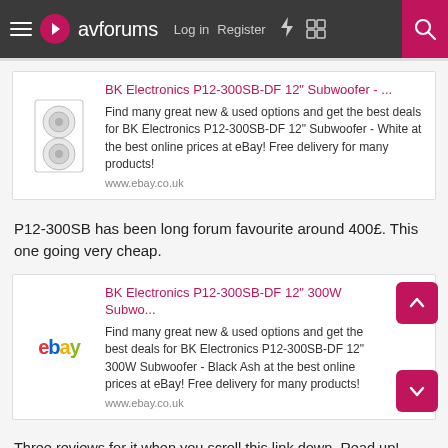avforums — Log in  Register
[Figure (screenshot): eBay link preview card for BK Electronics P12-300SB-DF 12" Subwoofer - White with product image and description]
P12-300SB has been long forum favourite around 400£. This one going very cheap.
[Figure (screenshot): eBay link preview card for BK Electronics P12-300SB-DF 12" 300W Subwoofer - Black Ash with eBay logo]
Three reviews for it when you scroll this link down. Read up!
Sub Woofers - Sub Bass - Subwoofer